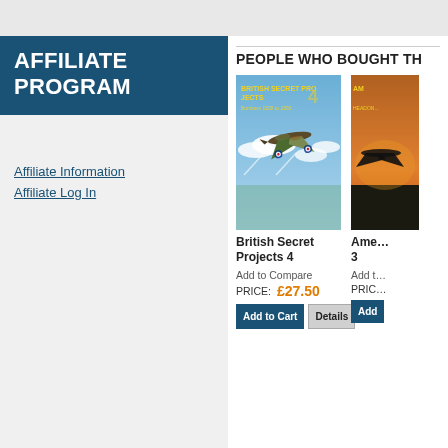AFFILIATE PROGRAM
Affiliate Information
Affiliate Log In
PEOPLE WHO BOUGHT TH…
[Figure (photo): Book cover of British Secret Projects 4 showing a WWII military aircraft flying over clouds]
British Secret Projects 4
Add to Compare
PRICE: £27.50
[Figure (photo): Partial book cover of a second product (Ame... 3) showing an aircraft at sunset]